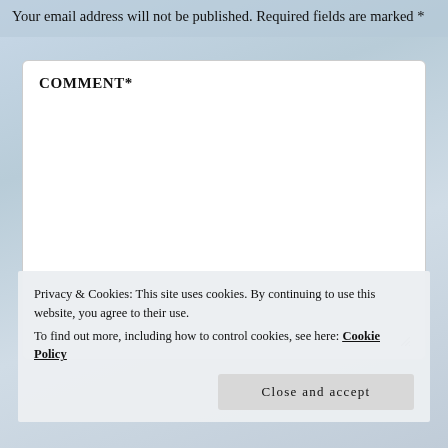Your email address will not be published. Required fields are marked *
COMMENT*
Privacy & Cookies: This site uses cookies. By continuing to use this website, you agree to their use.
To find out more, including how to control cookies, see here: Cookie Policy
Close and accept